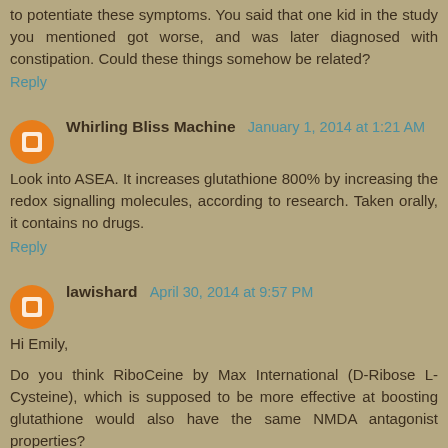to potentiate these symptoms. You said that one kid in the study you mentioned got worse, and was later diagnosed with constipation. Could these things somehow be related?
Reply
Whirling Bliss Machine  January 1, 2014 at 1:21 AM
Look into ASEA. It increases glutathione 800% by increasing the redox signalling molecules, according to research. Taken orally, it contains no drugs.
Reply
lawishard  April 30, 2014 at 9:57 PM
Hi Emily,
Do you think RiboCeine by Max International (D-Ribose L-Cysteine), which is supposed to be more effective at boosting glutathione would also have the same NMDA antagonist properties?